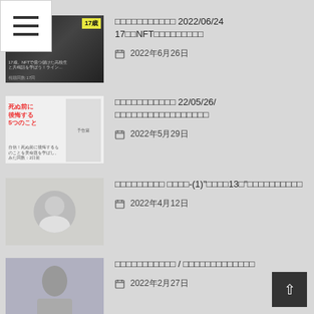□□□□□□□□□□□ 2022/06/24 17□□NFT□□□□□□□□□ 2022年6月26日
□□□□□□□□□□□ 22/05/26/ □□□□□□□□□□□□□□□□□ 2022年5月29日
□□□□□□□□□ □□□□-(1)"□□□□13□"□□□□□□□□□□ 2022年4月12日
□□□□□□□□□□□ / □□□□□□□□□□□□□ 2022年2月27日
□□□□□□□□□□□ / Emma Watson, Radcliffe, □□□□□□□□□□□□□□□□□□□□ 2022年2月27日